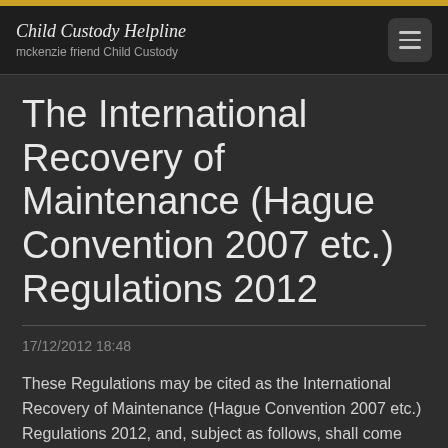Child Custody Helpline
mckenzie friend Child Custody
The International Recovery of Maintenance (Hague Convention 2007 etc.) Regulations 2012
17/12/2012 18:48
These Regulations may be cited as the International Recovery of Maintenance (Hague Convention 2007 etc.) Regulations 2012, and, subject as follows, shall come into force on the day on which the Convention enters into force